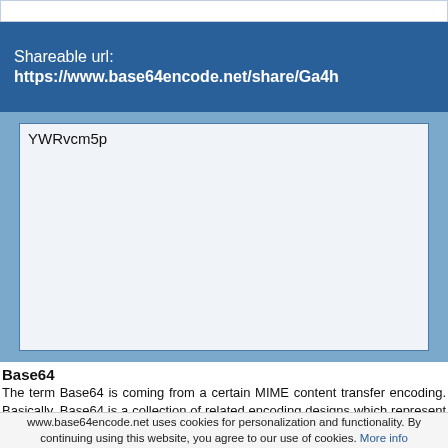[Figure (screenshot): Top white bar area showing truncated content]
Shareable url:
https://www.base64encode.net/share/Ga4h
YWRvcm5p
Base64
The term Base64 is coming from a certain MIME content transfer encoding. Basically, Base64 is a collection of related encoding designs which represent the
www.base64encode.net uses cookies for personalization and functionality. By continuing using this website, you agree to our use of cookies. More info